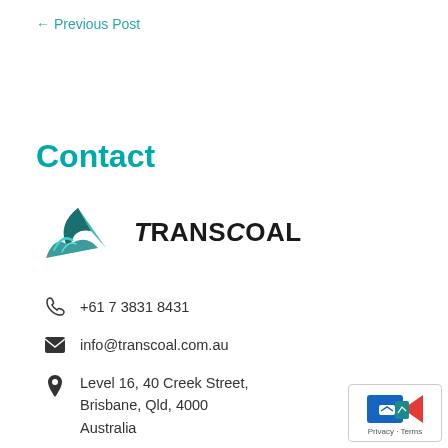← Previous Post
Contact
[Figure (logo): TransCoal company logo with teal mountain/arrow graphic and bold TRANSCOAL text]
+61 7 3831 8431
info@transcoal.com.au
Level 16, 40 Creek Street, Brisbane, Qld, 4000 Australia